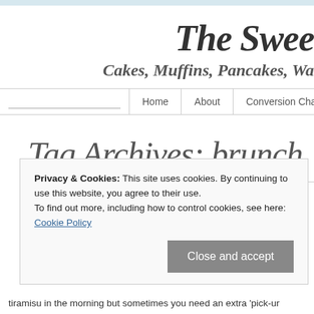The Swee
Cakes, Muffins, Pancakes, Wa
Home | About | Conversion Charts
Tag Archives: brunch
Privacy & Cookies: This site uses cookies. By continuing to use this website, you agree to their use.
To find out more, including how to control cookies, see here: Cookie Policy
Close and accept
tiramisu in the morning but sometimes you need an extra 'pick-up